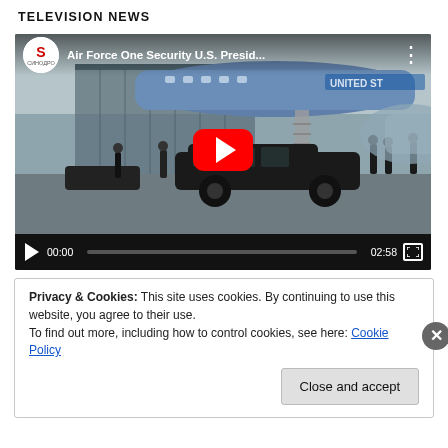TELEVISION NEWS
[Figure (screenshot): YouTube video player showing 'Air Force One Security U.S. Presid...' with a thumbnail of Air Force One plane on a tarmac with a black presidential limousine and security personnel. Video duration shown as 02:58, current time 00:00.]
Privacy & Cookies: This site uses cookies. By continuing to use this website, you agree to their use.
To find out more, including how to control cookies, see here: Cookie Policy
Close and accept